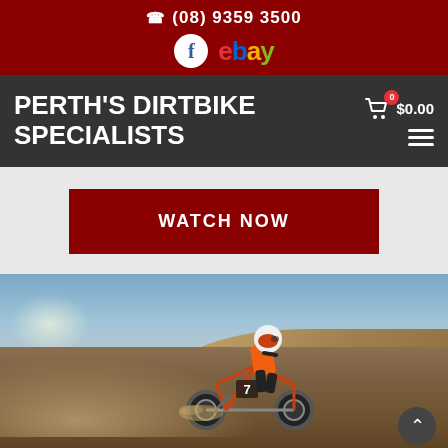(08) 9359 3500
PERTH'S DIRTBIKE SPECIALISTS
$0.00
WATCH NOW
[Figure (photo): A dirt bike rider wearing helmet and gear, number 7 on the bike, riding through a dusty desert landscape with sand dunes in the background and dramatic sky.]